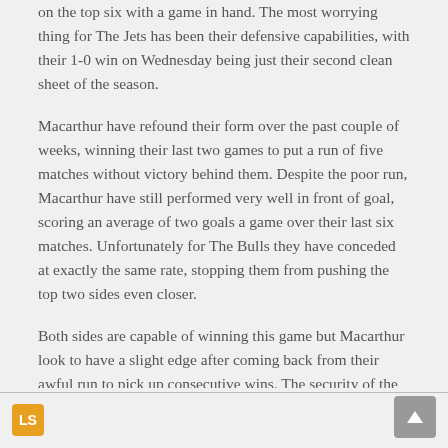on the top six with a game in hand. The most worrying thing for The Jets has been their defensive capabilities, with their 1-0 win on Wednesday being just their second clean sheet of the season.
Macarthur have refound their form over the past couple of weeks, winning their last two games to put a run of five matches without victory behind them. Despite the poor run, Macarthur have still performed very well in front of goal, scoring an average of two goals a game over their last six matches. Unfortunately for The Bulls they have conceded at exactly the same rate, stopping them from pushing the top two sides even closer.
Both sides are capable of winning this game but Macarthur look to have a slight edge after coming back from their awful run to pick up consecutive wins. The security of the draw no bet market offers value though and that looks to be the best play in this game.
Prediction: Macarthur Draw no Bet, 2.0 on Betfair (★★★)